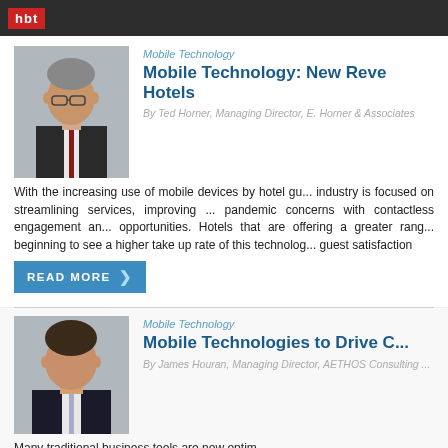HBT
Mobile Technology
Mobile Technology: New Reve... Hotels
By Ted Horner, Managing Director, E. Horner & Associates
With the increasing use of mobile devices by hotel gu... industry is focused on streamlining services, improving ... pandemic concerns with contactless engagement an... opportunities. Hotels that are offering a greater rang... beginning to see a higher take up rate of this technolog... guest satisfaction
READ MORE
Mobile Technology
Mobile Technologies to Drive C...
By James Houran, Managing Director, AETHOS Consulting ...
Many traditional business tools are now optim...